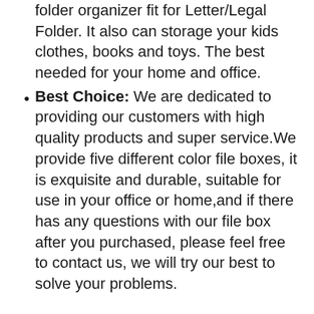folder organizer fit for Letter/Legal Folder. It also can storage your kids clothes, books and toys. The best needed for your home and office.
Best Choice: We are dedicated to providing our customers with high quality products and super service.We provide five different color file boxes, it is exquisite and durable, suitable for use in your office or home,and if there has any questions with our file box after you purchased, please feel free to contact us, we will try our best to solve your problems.
Additional Info :